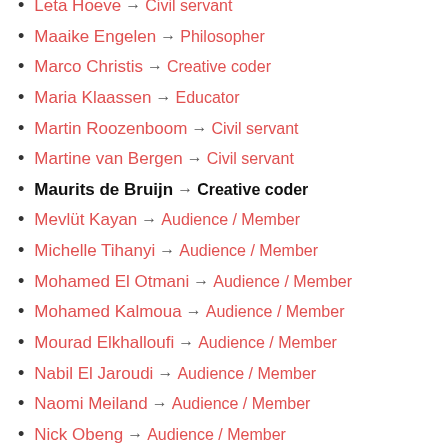Leta Hoeve → Civil servant
Maaike Engelen → Philosopher
Marco Christis → Creative coder
Maria Klaassen → Educator
Martin Roozenboom → Civil servant
Martine van Bergen → Civil servant
Maurits de Bruijn → Creative coder
Mevlüt Kayan → Audience / Member
Michelle Tihanyi → Audience / Member
Mohamed El Otmani → Audience / Member
Mohamed Kalmoua → Audience / Member
Mourad Elkhalloufi → Audience / Member
Nabil El Jaroudi → Audience / Member
Naomi Meiland → Audience / Member
Nick Obeng → Audience / Member
Nienke van Ankeren → Social worker / Host